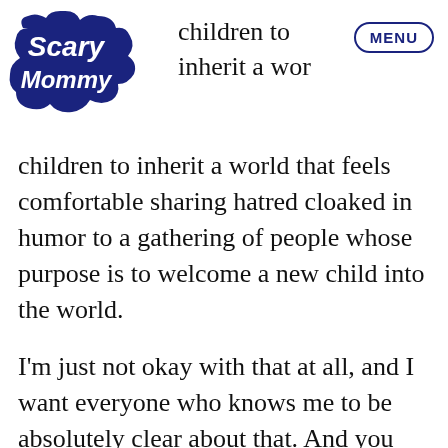[Figure (logo): Scary Mommy logo in dark navy blue with cloud/bubble shape]
MENU
children to inherit a world that feels comfortable sharing hatred cloaked in humor to a gathering of people whose purpose is to welcome a new child into the world.
I'm just not okay with that at all, and I want everyone who knows me to be absolutely clear about that. And you should too.
This article was originally published on 10.10.2018